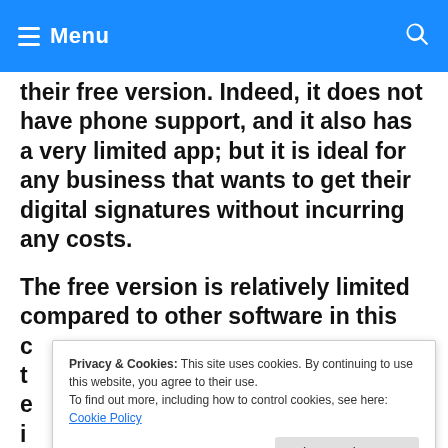Menu
their free version. Indeed, it does not have phone support, and it also has a very limited app; but it is ideal for any business that wants to get their digital signatures without incurring any costs.
The free version is relatively limited compared to other software in this category. The free account allows you to send three documents per month, making it challenging for businesses to exceed that amount. You will have to obtain the Pro paid package
Privacy & Cookies: This site uses cookies. By continuing to use this website, you agree to their use.
To find out more, including how to control cookies, see here: Cookie Policy